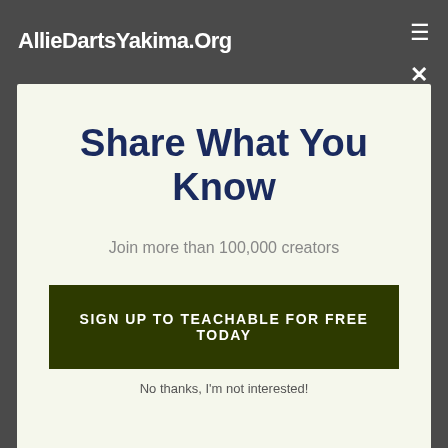AllieDartsYakima.Org
Share What You Know
Join more than 100,000 creators
SIGN UP TO TEACHABLE FOR FREE TODAY
deals with trainers, this is the one. Teachable training courses are easy to create and also ideal for the typical training course designer seeking to
No thanks, I'm not interested!